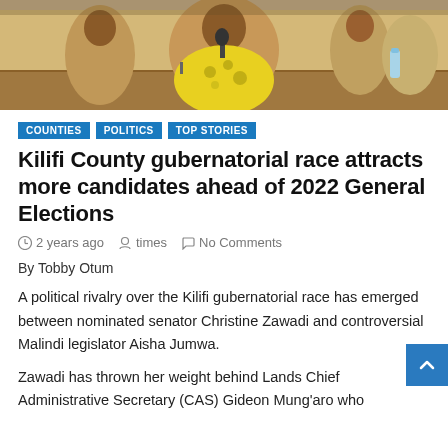[Figure (photo): A person in a yellow floral outfit speaking at a microphone at what appears to be a public meeting or hearing, with others visible in the background at a table.]
COUNTIES
POLITICS
TOP STORIES
Kilifi County gubernatorial race attracts more candidates ahead of 2022 General Elections
2 years ago   times   No Comments
By Tobby Otum
A political rivalry over the Kilifi gubernatorial race has emerged between nominated senator Christine Zawadi and controversial Malindi legislator Aisha Jumwa.
Zawadi has thrown her weight behind Lands Chief Administrative Secretary (CAS) Gideon Mung'aro who